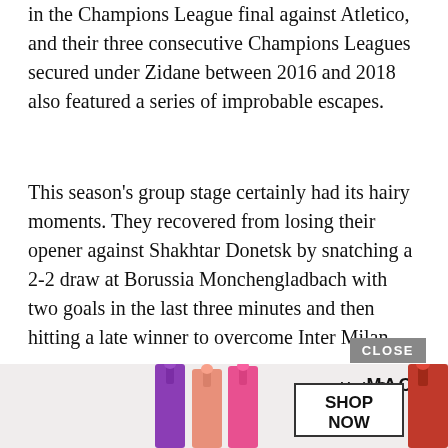in the Champions League final against Atletico, and their three consecutive Champions Leagues secured under Zidane between 2016 and 2018 also featured a series of improbable escapes.
This season's group stage certainly had its hairy moments. They recovered from losing their opener against Shakhtar Donetsk by snatching a 2-2 draw at Borussia Monchengladbach with two goals in the last three minutes and then hitting a late winner to overcome Inter Milan.
Mo Salah's glaring early miss in the quarter-final second leg at Anfield was another example of Real's ability to ride their luck at key moments, further strengthening their belief that when it comes to crunch time on Europe's biggest stage, they will invariably find a way to win.
All thin... ...ph again i... ...ect it.
[Figure (other): MAC cosmetics advertisement banner showing lipsticks and SHOP NOW button with CLOSE button overlay]